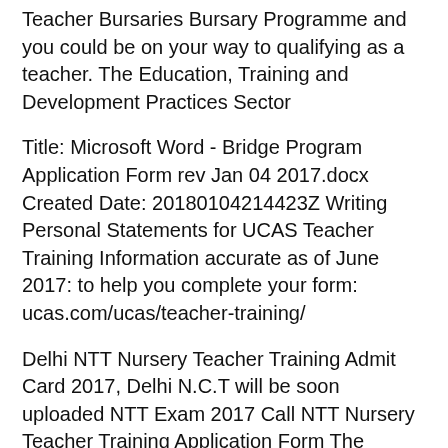Teacher Bursaries Bursary Programme and you could be on your way to qualifying as a teacher. The Education, Training and Development Practices Sector
Title: Microsoft Word - Bridge Program Application Form rev Jan 04 2017.docx Created Date: 20180104214423Z Writing Personal Statements for UCAS Teacher Training Information accurate as of June 2017: to help you complete your form: ucas.com/ucas/teacher-training/
Delhi NTT Nursery Teacher Training Admit Card 2017, Delhi N.C.T will be soon uploaded NTT Exam 2017 Call NTT Nursery Teacher Training Application Form The Kenya Technical Teachers